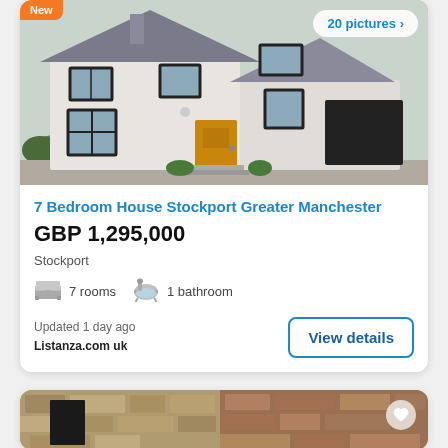[Figure (photo): Exterior photo of a large white 7-bedroom house with dark grey roof tiles, black window frames, and a black garage door. Shows '20 pictures >' badge in top right and 'New' badge top left.]
7 Bedroom House Stockport Greater Manchester
GBP 1,295,000
Stockport
7 rooms   1 bathroom
Updated 1 day ago
Listanza.com uk
View details
[Figure (photo): Partial view of a stone-built property exterior, showing old stone walls and a narrow alleyway. A heart/favorite icon is visible in the top right corner.]